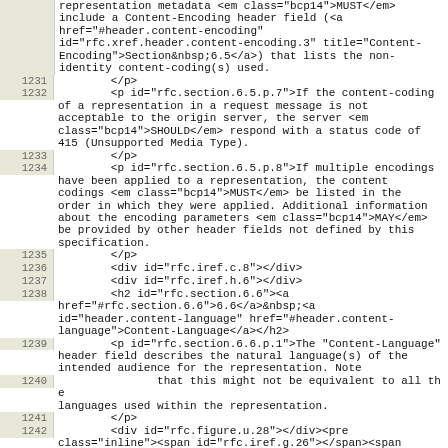representation metadata <em class="bcp14">MUST</em> include a Content-Encoding header field (<a href="#header.content-encoding" id="rfc.xref.header.content-encoding.3" title="Content-Encoding">Section&nbsp;6.5</a>) that lists the non-identity content-coding(s) used.
1231        </p>
1232        <p id="rfc.section.6.5.p.7">If the content-coding of a representation in a request message is not acceptable to the origin server, the server <em class="bcp14">SHOULD</em> respond with a status code of 415 (Unsupported Media Type).
1233        </p>
1234        <p id="rfc.section.6.5.p.8">If multiple encodings have been applied to a representation, the content codings <em class="bcp14">MUST</em> be listed in the order in which they were applied. Additional information about the encoding parameters <em class="bcp14">MAY</em> be provided by other header fields not defined by this specification.
1235        </p>
1236        <div id="rfc.iref.c.8"></div>
1237        <div id="rfc.iref.h.6"></div>
1238        <h2 id="rfc.section.6.6"><a href="#rfc.section.6.6">6.6</a>&nbsp;<a id="header.content-language" href="#header.content-language">Content-Language</a></h2>
1239        <p id="rfc.section.6.6.p.1">The "Content-Language" header field describes the natural language(s) of the intended audience for the representation. Note
1240        that this might not be equivalent to all the languages used within the representation.
1241        </p>
1242        <div id="rfc.figure.u.28"></div><pre class="inline"><span id="rfc.iref.g.26"></span><span id="rfc.iref.g.27"></span>. <a href="#header.content